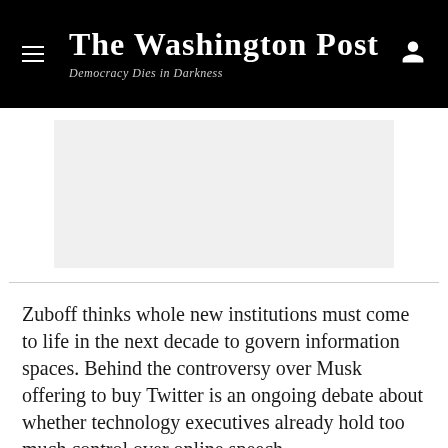The Washington Post — Democracy Dies in Darkness
[Figure (other): Advertisement placeholder, light gray rectangle]
Zuboff thinks whole new institutions must come to life in the next decade to govern information spaces. Behind the controversy over Musk offering to buy Twitter is an ongoing debate about whether technology executives already hold too much control over online speech.